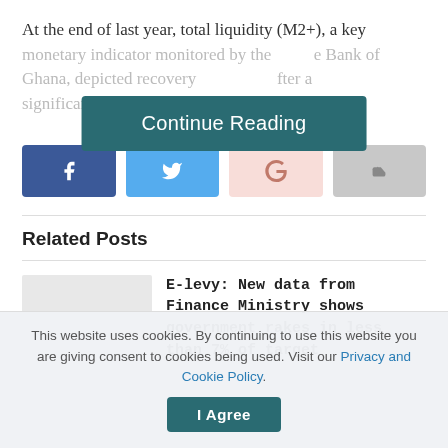At the end of last year, total liquidity (M2+), a key monetary indica[tor monitored by the] Bank of Ghana, depicted [recovery in M2+] after a significant decline in the first two months of the
[Figure (other): Continue Reading button overlay — dark teal rounded rectangle with white text 'Continue Reading']
[Figure (infographic): Social share buttons row: Facebook (dark blue), Twitter (light blue), Google+ (light pink), Share (light gray)]
Related Posts
E-levy: New data from Finance Ministry shows government rakes in less than 7% of target
This website uses cookies. By continuing to use this website you are giving consent to cookies being used. Visit our Privacy and Cookie Policy.